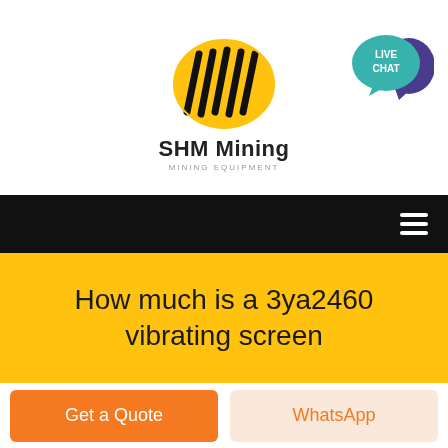[Figure (logo): SHM Mining logo: yellow oval with black diagonal stripes/lines, company name 'SHM Mining' in bold black, subtitle 'MINING EQUIPMENT' in small gray caps]
[Figure (illustration): Live Chat button: teal speech bubble with 'LIVE CHAT' text and purple chat bubble icon]
[Figure (other): Black navigation bar with white hamburger menu icon (three horizontal lines) on the right]
How much is a 3ya2460 vibrating screen
[Figure (other): Get a Quote orange button]
[Figure (other): WhatsApp button with light background and orange text]